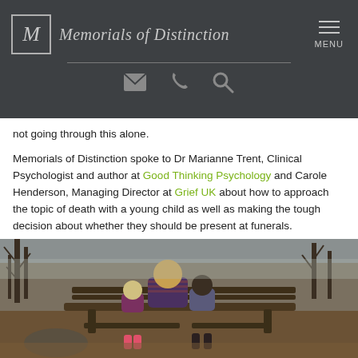Memorials of Distinction — site header with logo and navigation icons
not going through this alone.
Memorials of Distinction spoke to Dr Marianne Trent, Clinical Psychologist and author at Good Thinking Psychology and Carole Henderson, Managing Director at Grief UK about how to approach the topic of death with a young child as well as making the tough decision about whether they should be present at funerals.
[Figure (photo): Photo of a woman and two children sitting on a wooden park bench from behind, in an autumn woodland setting with bare trees. The woman has blonde hair and wears a plaid jacket; one child wears pink boots.]